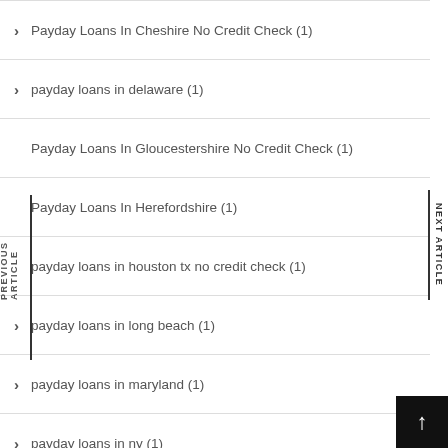Payday Loans In Cheshire No Credit Check (1)
payday loans in delaware (1)
Payday Loans In Gloucestershire No Credit Check (1)
Payday Loans In Herefordshire (1)
payday loans in houston tx no credit check (1)
payday loans in long beach (1)
payday loans in maryland (1)
payday loans in ny (1)